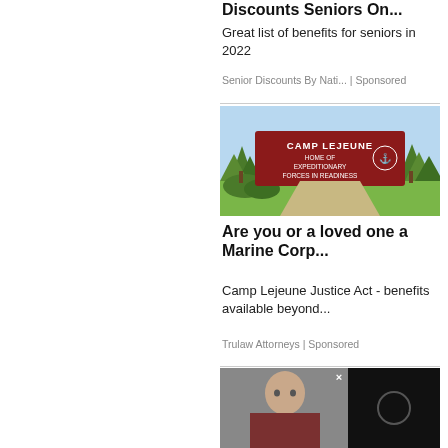Discounts Seniors On...
Great list of benefits for seniors in 2022
Senior Discounts By Nati... | Sponsored
[Figure (illustration): Camp Lejeune sign illustration showing red sign with white text 'CAMP LEJEUNE HOME OF EXPEDITIONARY FORCES IN READINESS' with USMC eagle globe and anchor emblem, trees and grass in background]
Are you or a loved one a Marine Corp...
Camp Lejeune Justice Act - benefits available beyond...
Trulaw Attorneys | Sponsored
[Figure (photo): Partial photo of a person at bottom left, with black video player overlay on the right showing a loading circle icon and a close (x) button]